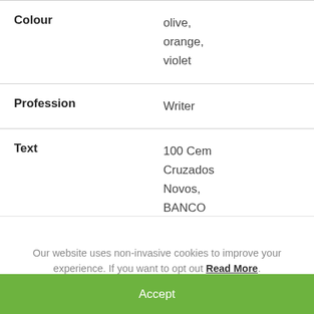|  |  |
| --- | --- |
| Colour | olive,
orange,
violet |
| Profession | Writer |
| Text | 100 Cem
Cruzados
Novos,
BANCO |
Our website uses non-invasive cookies to improve your experience. If you want to opt out Read More.